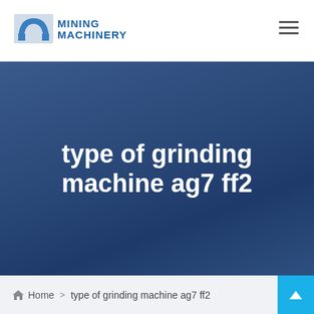MINING MACHINERY
type of grinding machine ag7 ff2
Home > type of grinding machine ag7 ff2